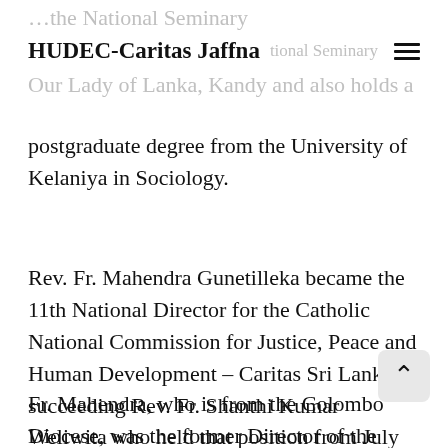HUDEC-Caritas Jaffna
Our Lady of Lanka, Kandy and also holds a postgraduate degree from the University of Kelaniya in Sociology.
Rev. Fr. Mahendra Gunetilleka became the 11th National Director for the Catholic National Commission for Justice, Peace and Human Development – Caritas Sri Lanka, succeeding Rev. Fr. Shanthi Kumar Weliwita who held that position from July 2016.
Fr. Mahendra, who is from the Colombo Diocese, was the former Director of the Colombo Catholic Press and the Editor of the